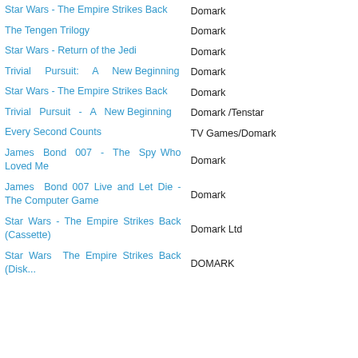| Title | Publisher |
| --- | --- |
| Star Wars - The Empire Strikes Back | Domark |
| The Tengen Trilogy | Domark |
| Star Wars - Return of the Jedi | Domark |
| Trivial Pursuit: A New Beginning | Domark |
| Star Wars - The Empire Strikes Back | Domark |
| Trivial Pursuit - A New Beginning | Domark /Tenstar |
| Every Second Counts | TV Games/Domark |
| James Bond 007 - The Spy Who Loved Me | Domark |
| James Bond 007 Live and Let Die - The Computer Game | Domark |
| Star Wars - The Empire Strikes Back (Cassette) | Domark Ltd |
| Star Wars The Empire Strikes Back (Disk...) | DOMARK |